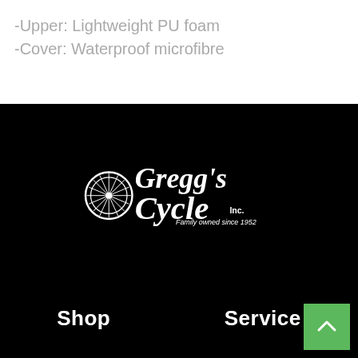-Upper: Lightweight PU foam
-Cover: Waterproof microfibre
[Figure (logo): Gregg's Cycle Inc. logo with bicycle wheel graphic. Text: Gregg's Cycle Inc. Family owned since 1952. White logo on black background.]
Shop   Service